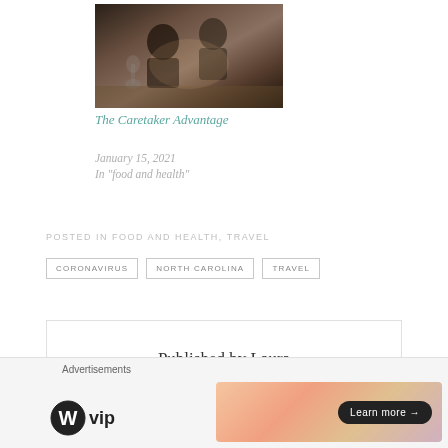[Figure (photo): Two people looking down at something on a table in a dim restaurant setting with wine glasses visible]
The Caretaker Advantage
January 15, 2021
In "food and health"
POSTED IN FOOD AND HEALTH, TRAVEL
CORONAVIRUS
NORTH CAROLINA
TRAVEL
Published by Laura
Advertisements